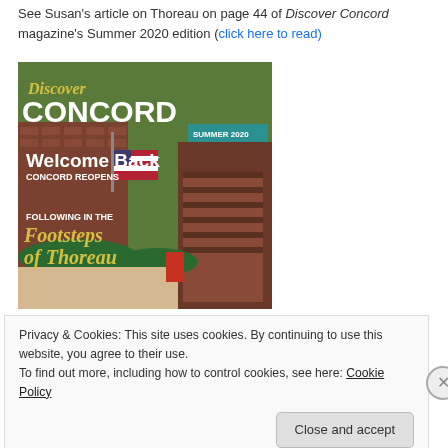See Susan's article on Thoreau on page 44 of Discover Concord magazine's Summer 2020 edition (click here to read)
[Figure (photo): Cover of Discover Concord magazine, Summer 2020 edition. Shows a street scene with brick buildings, an American flag, outdoor café seating with green umbrellas. Text on cover reads: 'Discover CONCORD', 'SUMMER 2020', 'Welcome Back', 'CONCORD REOPENS', 'FOLLOWING IN THE Footsteps of Thoreau'.]
Privacy & Cookies: This site uses cookies. By continuing to use this website, you agree to their use. To find out more, including how to control cookies, see here: Cookie Policy
Close and accept